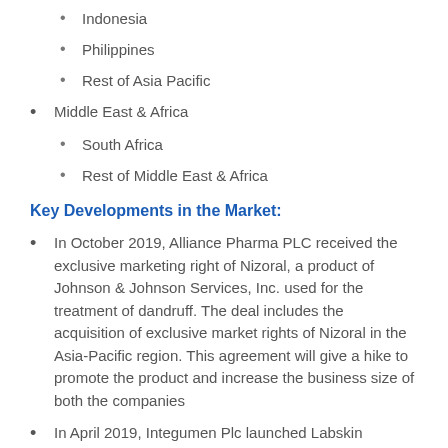Indonesia
Philippines
Rest of Asia Pacific
Middle East & Africa
South Africa
Rest of Middle East & Africa
Key Developments in the Market:
In October 2019, Alliance Pharma PLC received the exclusive marketing right of Nizoral, a product of Johnson & Johnson Services, Inc. used for the treatment of dandruff. The deal includes the acquisition of exclusive market rights of Nizoral in the Asia-Pacific region. This agreement will give a hike to promote the product and increase the business size of both the companies
In April 2019, Integumen Plc launched Labskin platform for testing new drugs and cosmetics for dandruff. This novel